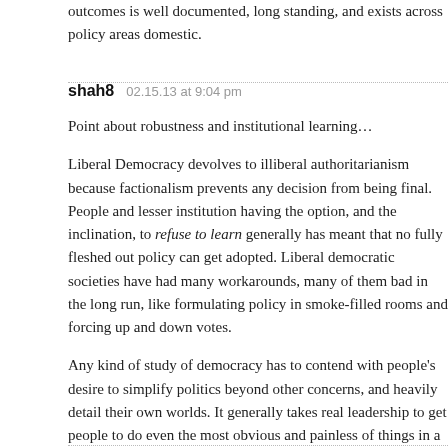outcomes is well documented, long standing, and exists across policy areas domestic.
shah8   02.15.13 at 9:04 pm

Point about robustness and institutional learning…

Liberal Democracy devolves to illiberal authoritarianism because factionalism prevents any decision from being final. People and lesser institution having the option, and the inclination, to refuse to learn generally has meant that no fully fleshed out policy can get adopted. Liberal democratic societies have had many workarounds, many of them bad in the long run, like formulating policy in smoke-filled rooms and forcing up and down votes.

Any kind of study of democracy has to contend with people's desire to simplify politics beyond other concerns, and heavily detail their own worlds. It generally takes real leadership to get people to do even the most obvious and painless of things in a coordinated way for collective benefit, and I would be interested in a book about how people set up veto players and how we got around them.